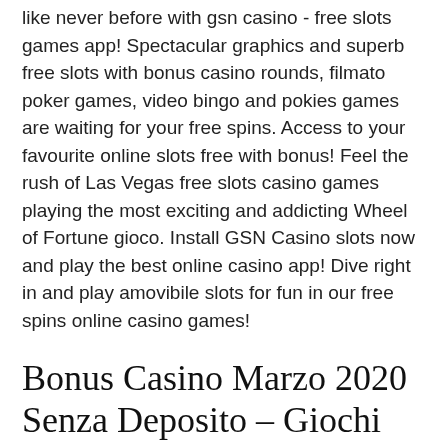like never before with gsn casino - free slots games app! Spectacular graphics and superb free slots with bonus casino rounds, filmato poker games, video bingo and pokies games are waiting for your free spins. Access to your favourite online slots free with bonus! Feel the rush of Las Vegas free slots casino games playing the most exciting and addicting Wheel of Fortune gioco. Install GSN Casino slots now and play the best online casino app! Dive right in and play amovibile slots for fun in our free spins online casino games!
Bonus Casino Marzo 2020 Senza Deposito – Giochi slot machines online gratis – metricaciudadana.org more